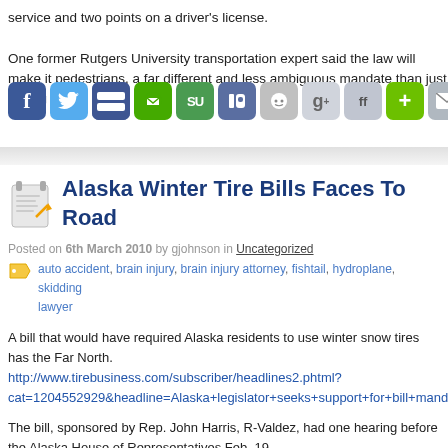service and two points on a driver's license.
One former Rutgers University transportation expert said the law will make it pedestrians, a far different and less ambiguous mandate than just asking mo
[Figure (infographic): Social media share buttons: Facebook, Twitter, Delicious, Digg/green, StumbleUpon, Digg blue, Reddit, Google+, FriendFeed, Plus green, Email/envelope]
Alaska Winter Tire Bills Faces To Road
Posted on 6th March 2010 by gjohnson in Uncategorized
auto accident, brain injury, brain injury attorney, fishtail, hydroplane, skidding, lawyer
A bill that would have required Alaska residents to use winter snow tires has the Far North. http://www.tirebusiness.com/subscriber/headlines2.phtml?cat=1204552929&headline=Alaska+legislator+seeks+support+for+bill+mand
The bill, sponsored by Rep. John Harris, R-Valdez, had one hearing before the Alaska House of Representatives Feb. 19.